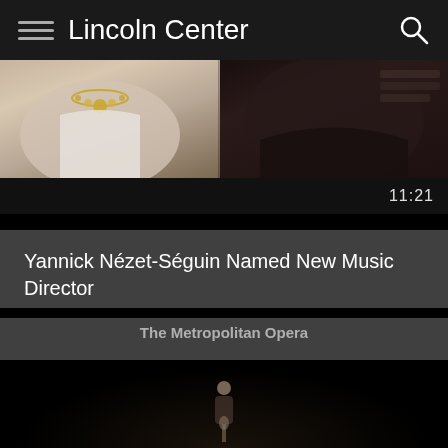Lincoln Center
[Figure (screenshot): Video thumbnail showing two people, timestamp 11:21]
Yannick Nézet-Séguin Named New Music Director
The Metropolitan Opera
[Figure (screenshot): Dark video frame showing a figure on a stage]